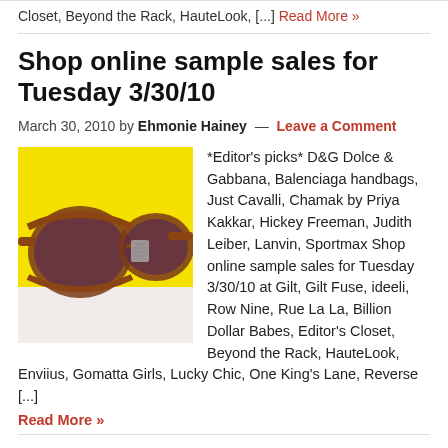Closet, Beyond the Rack, HauteLook, [...] Read More »
Shop online sample sales for Tuesday 3/30/10
March 30, 2010 by Ehmonie Hainey — Leave a Comment
[Figure (photo): Photo of brown/tortoiseshell sunglasses on a yellow background]
*Editor's picks* D&G Dolce & Gabbana, Balenciaga handbags, Just Cavalli, Chamak by Priya Kakkar, Hickey Freeman, Judith Leiber, Lanvin, Sportmax Shop online sample sales for Tuesday 3/30/10 at Gilt, Gilt Fuse, ideeli, Row Nine, Rue La La, Billion Dollar Babes, Editor's Closet, Beyond the Rack, HauteLook, Enviius, Gomatta Girls, Lucky Chic, One King's Lane, Reverse [...]
Read More »
Shop online sample sales for